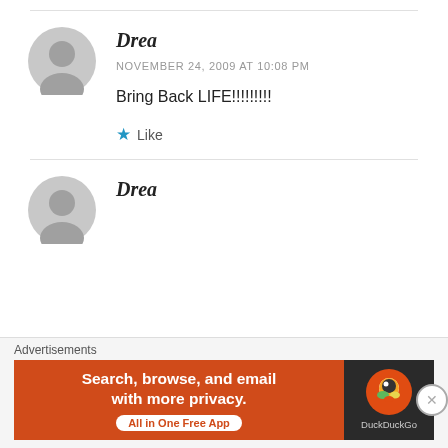[Figure (illustration): Gray default user avatar circle icon (partial, top of page)]
Drea
NOVEMBER 24, 2009 AT 10:08 PM
Bring Back LIFE!!!!!!!!!
Like
[Figure (illustration): Gray default user avatar circle icon (second comment, partially visible)]
Drea
Advertisements
[Figure (screenshot): DuckDuckGo advertisement banner: 'Search, browse, and email with more privacy. All in One Free App' with DuckDuckGo logo on dark background]